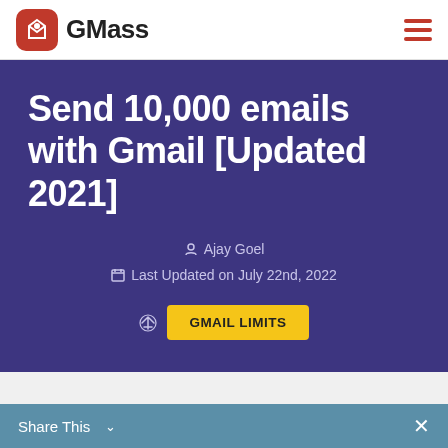GMass
Send 10,000 emails with Gmail [Updated 2021]
Ajay Goel
Last Updated on July 22nd, 2022
GMAIL LIMITS
Share This ✓  ×